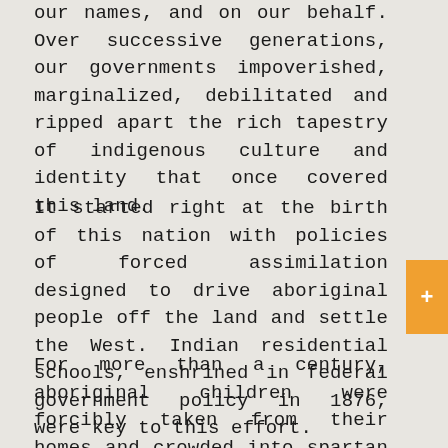our names, and on our behalf. Over successive generations, our governments impoverished, marginalized, debilitated and ripped apart the rich tapestry of indigenous culture and identity that once covered this land.
It started right at the birth of this nation with policies of forced assimilation designed to drive aboriginal people off the land and settle the West. Indian residential schools, enshrined in federal government policy in 1876, were key to this effort.
For more than a century, aboriginal children were forcibly taken from their homes and crowded into spartan boarding schools